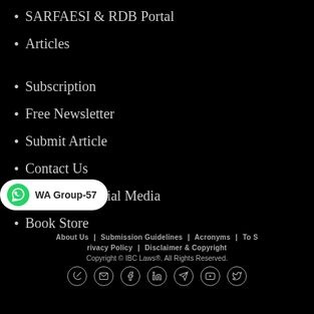SARFAESI & RDB Portal
Articles
Subscription
Free Newsletter
Submit Article
Contact Us
Follow on Social Media
Book Store
About Us | Submission Guidelines | Acronyms | ToS | Privacy Policy | Disclaimer & Copyright
Copyright © IBC Laws®. All Rights Reserved.